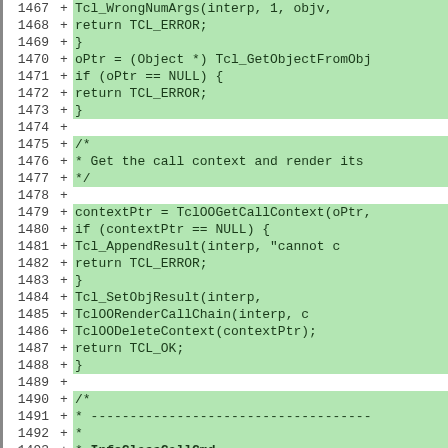[Figure (screenshot): Code diff view showing lines 1467-1494 of a source file. Lines have green background indicating added lines (+). Content shows C/Tcl code including Tcl_WrongNumArgs, return TCL_ERROR, oPtr = (Object *) Tcl_GetObjectFromObj, if (oPtr == NULL), contextPtr = TclOOGetCallContext, if (contextPtr == NULL), Tcl_AppendResult, Tcl_SetObjResult, TclOORenderCallChain, TclOODeleteContext, return TCL_OK, closing brace, and start of InfoClassCallCmd comment block.]